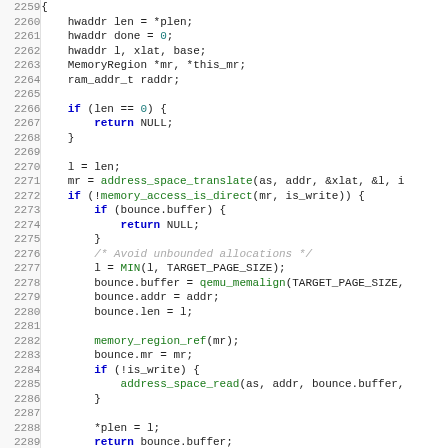[Figure (screenshot): Source code listing in C showing lines 2259-2291 of a memory access function, with syntax highlighting. Keywords in dark blue bold, function names in green, numeric literals in teal, comments in gray italic.]